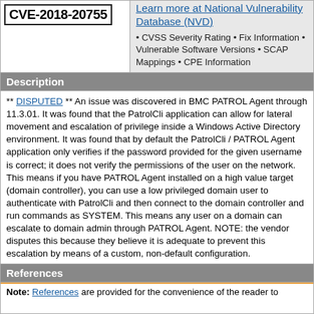CVE-2018-20755
Learn more at National Vulnerability Database (NVD) • CVSS Severity Rating • Fix Information • Vulnerable Software Versions • SCAP Mappings • CPE Information
Description
** DISPUTED ** An issue was discovered in BMC PATROL Agent through 11.3.01. It was found that the PatrolCli application can allow for lateral movement and escalation of privilege inside a Windows Active Directory environment. It was found that by default the PatrolCli / PATROL Agent application only verifies if the password provided for the given username is correct; it does not verify the permissions of the user on the network. This means if you have PATROL Agent installed on a high value target (domain controller), you can use a low privileged domain user to authenticate with PatrolCli and then connect to the domain controller and run commands as SYSTEM. This means any user on a domain can escalate to domain admin through PATROL Agent. NOTE: the vendor disputes this because they believe it is adequate to prevent this escalation by means of a custom, non-default configuration.
References
Note: References are provided for the convenience of the reader to